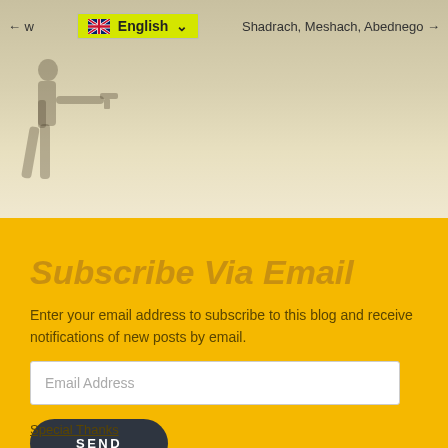← w   English ∨   Shadrach, Meshach, Abednego →
[Figure (illustration): Hero banner with a beige/tan gradient background and a silhouette of a person in a shooting stance pointing a gun to the right.]
Subscribe Via Email
Enter your email address to subscribe to this blog and receive notifications of new posts by email.
Email Address
SEND
Special Thanks